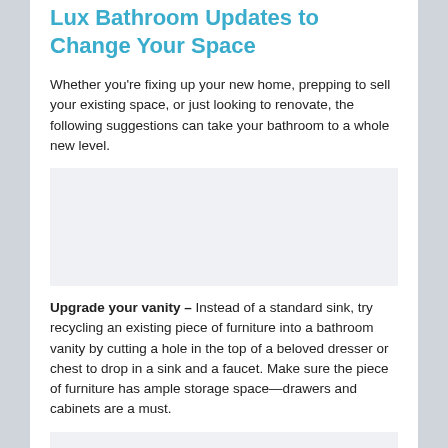Lux Bathroom Updates to Change Your Space
Whether you're fixing up your new home, prepping to sell your existing space, or just looking to renovate, the following suggestions can take your bathroom to a whole new level.
[Figure (photo): Image placeholder for bathroom vanity photo]
Upgrade your vanity – Instead of a standard sink, try recycling an existing piece of furniture into a bathroom vanity by cutting a hole in the top of a beloved dresser or chest to drop in a sink and a faucet. Make sure the piece of furniture has ample storage space—drawers and cabinets are a must.
[Figure (photo): Image placeholder for curved shower rod photo]
Curved shower rod – These rounded shower rods make your shower seem more open and airy, providing more space at a low cost.